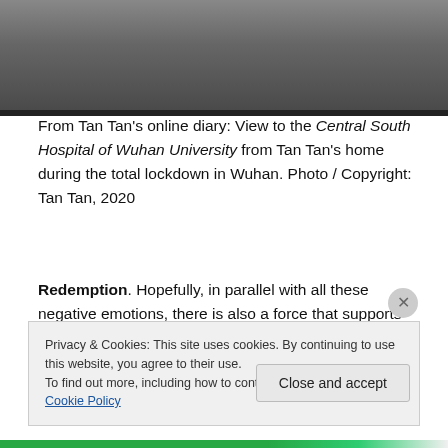[Figure (photo): Partial view of a photograph showing the Central South Hospital of Wuhan University as seen from Tan Tan's home, with dark frame/window border, taken during the total lockdown in Wuhan.]
From Tan Tan's online diary: View to the Central South Hospital of Wuhan University from Tan Tan's home during the total lockdown in Wuhan. Photo / Copyright: Tan Tan, 2020
Redemption. Hopefully, in parallel with all these negative emotions, there is also a force that supports each of us, that is, the rescue and self-rescue. Other than joining the volunteers to serve the hospitals, many people chose to
Privacy & Cookies: This site uses cookies. By continuing to use this website, you agree to their use.
To find out more, including how to control cookies, see here: Cookie Policy